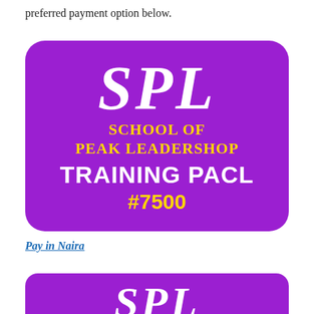preferred payment option below.
[Figure (logo): SPL School of Peak Leadership Training PACL #7500 logo on purple rounded rectangle background with white and yellow text]
Pay in Naira
[Figure (logo): SPL School of Peak Leadership logo on purple rounded rectangle background, partially visible at bottom of page]